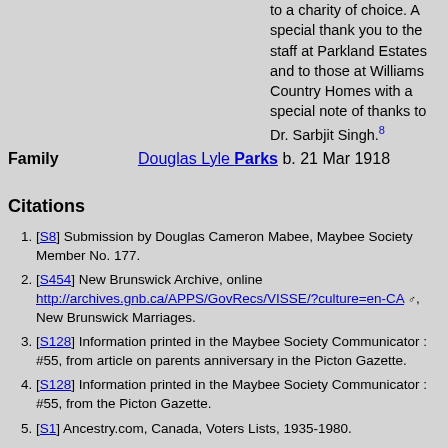to a charity of choice. A special thank you to the staff at Parkland Estates and to those at Williams Country Homes with a special note of thanks to Dr. Sarbjit Singh.[8]
Family   Douglas Lyle Parks b. 21 Mar 1918
Citations
[S8] Submission by Douglas Cameron Mabee, Maybee Society Member No. 177.
[S454] New Brunswick Archive, online http://archives.gnb.ca/APPS/GovRecs/VISSE/?culture=en-CA, New Brunswick Marriages.
[S128] Information printed in the Maybee Society Communicator : #55, from article on parents anniversary in the Picton Gazette.
[S128] Information printed in the Maybee Society Communicator : #55, from the Picton Gazette.
[S1] Ancestry.com, Canada, Voters Lists, 1935-1980.
[S1] Ancestry.com, Chronicle-Herald/Mail Star, Halifax, NS, Can, 31 Dec 2009.
[S1] Ancestry.com, Canada Obituary Collection, Chronicle-Herald/Mail Star, Halifax, Nova Scotia, 31 Dec 2009.